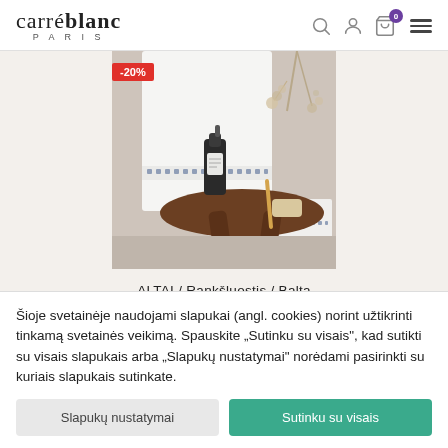carré blanc PARIS
[Figure (photo): White towel with decorative border on a wooden side table with soap dispenser, soap bar, and dried flowers in the background. Red badge showing -20% discount.]
ALTAI / Rankšluostis / Balta
Šioje svetainėje naudojami slapukai (angl. cookies) norint užtikrinti tinkamą svetainės veikimą. Spauskite "Sutinku su visais", kad sutikti su visais slapukais arba "Slapukų nustatymai" norėdami pasirinkti su kuriais slapukais sutinkate.
Slapukų nustatymai
Sutinku su visais